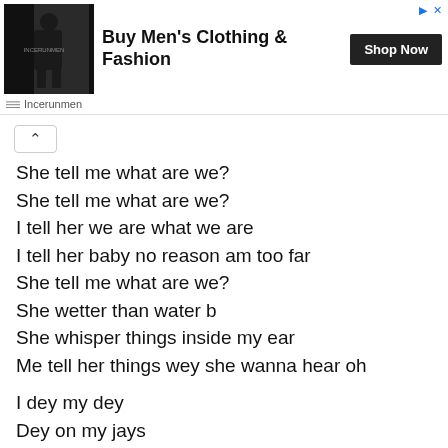[Figure (infographic): Advertisement banner for Incerunmen men's clothing with a photo of a person in black outfit, brand name INCERUNMEN, headline 'Buy Men's Clothing & Fashion', and a 'Shop Now' button. Ad controls (arrow and X) in top right.]
She tell me what are we?
She tell me what are we?
I tell her we are what we are
I tell her baby no reason am too far
She tell me what are we?
She wetter than water b
She whisper things inside my ear
Me tell her things wey she wanna hear oh

I dey my dey
Dey on my jays
To gba gi di
Gbori wo le girl